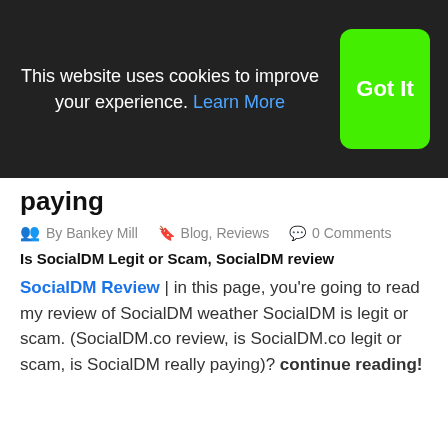This website uses cookies to improve your experience. Learn More  Got It
paying
By Bankey Mill   Blog, Reviews   0 Comments
Is SocialDM Legit or Scam, SocialDM review
SocialDM Review | in this page, you're going to read my review of SocialDM weather SocialDM is legit or scam. (SocialDM.co review, is SocialDM.co legit or scam, is SocialDM really paying)? continue reading!